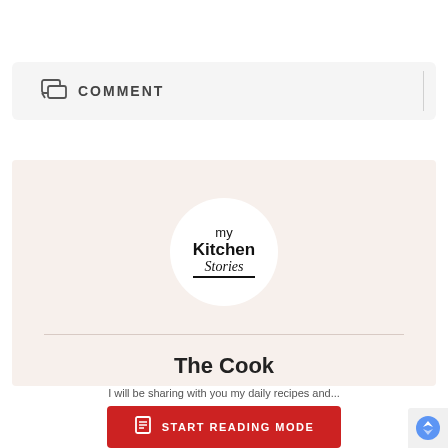[Figure (screenshot): Comment button bar with chat bubble icon and COMMENT label on light grey background]
[Figure (logo): my Kitchen Stories circular logo on cream/beige background, with The Cook heading below and a horizontal divider line]
The Cook
[Figure (screenshot): Red START READING MODE button with document icon]